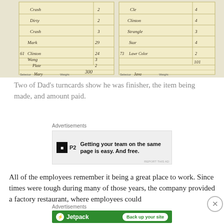[Figure (photo): Two handwritten turncards/work cards on aged paper showing names of items made (Crash, Dirty, Crash, Mark, Clinton, Wang, Plate) with numbers and amounts including 300 total, and selector signatures at bottom]
Two of Dad's turncards show he was finisher, the item being made, and amount paid.
[Figure (screenshot): Advertisement for P2 service: 'Getting your team on the same page is easy. And free.' with P2 logo]
All of the employees remember it being a great place to work. Since times were tough during many of those years, the company provided a factory restaurant, where employees could
[Figure (screenshot): Advertisement for Jetpack: 'Back up your site']